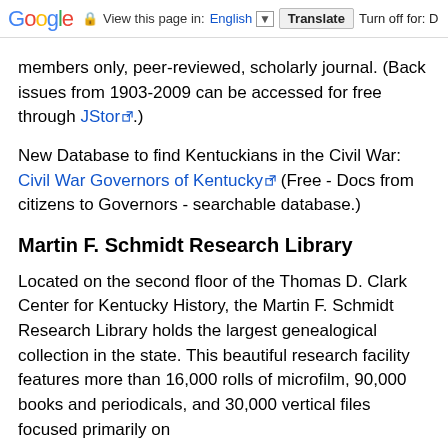Google | View this page in: English | Translate | Turn off for: D
members only, peer-reviewed, scholarly journal. (Back issues from 1903-2009 can be accessed for free through JStor.)
New Database to find Kentuckians in the Civil War: Civil War Governors of Kentucky (Free - Docs from citizens to Governors - searchable database.)
Martin F. Schmidt Research Library
Located on the second floor of the Thomas D. Clark Center for Kentucky History, the Martin F. Schmidt Research Library holds the largest genealogical collection in the state. This beautiful research facility features more than 16,000 rolls of microfilm, 90,000 books and periodicals, and 30,000 vertical files focused primarily on